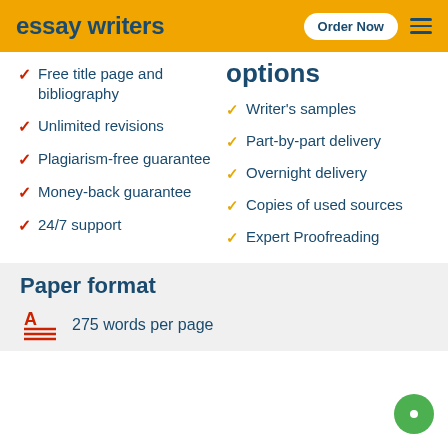essay writers — Order Now
options
Free title page and bibliography
Unlimited revisions
Plagiarism-free guarantee
Money-back guarantee
24/7 support
Writer's samples
Part-by-part delivery
Overnight delivery
Copies of used sources
Expert Proofreading
Paper format
275 words per page